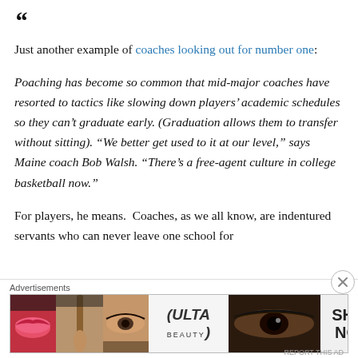Just another example of coaches looking out for number one:
Poaching has become so common that mid-major coaches have resorted to tactics like slowing down players’ academic schedules so they can’t graduate early. (Graduation allows them to transfer without sitting). “We better get used to it at our level,” says Maine coach Bob Walsh. “There’s a free-agent culture in college basketball now.”
For players, he means.  Coaches, as we all know, are indentured servants who can never leave one school for
Advertisements
[Figure (photo): Ulta Beauty advertisement banner showing makeup/cosmetics imagery with 'SHOP NOW' call to action]